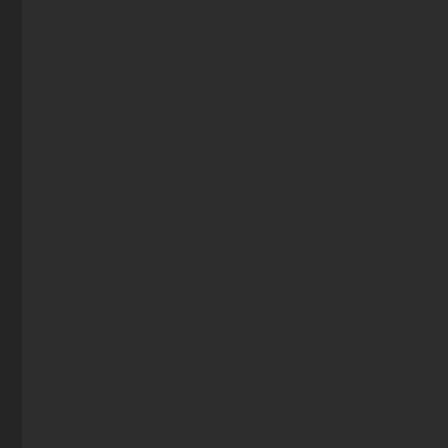war
fuzz
stuf
fron
the
big
G
bibl
god
but
don
actu
thin
its
the
bibl
god
its
som
deis
god
that
has
abs
no